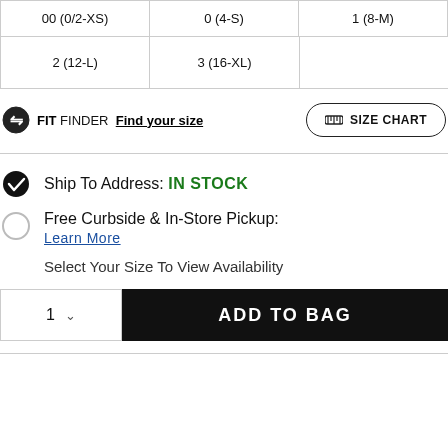| 00 (0/2-XS) | 0 (4-S) | 1 (8-M) |
| 2 (12-L) | 3 (16-XL) |  |
FIT FINDER  Find your size
SIZE CHART
Ship To Address: IN STOCK
Free Curbside & In-Store Pickup:
Learn More
Select Your Size To View Availability
1  ADD TO BAG